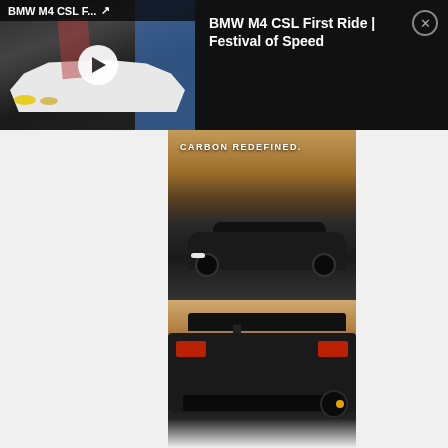[Figure (screenshot): Video thumbnail of BMW M4 CSL at Festival of Speed showing white BMW M4 CSL with play button overlay]
BMW M4 CSL First Ride | Festival of Speed
[Figure (photo): Black BMW M4 CSL on a road with text 'CARBON REDEFINED.' overlay, dry hillside background]
[Figure (photo): Rear angle of black BMW M4 CSL showing spoiler, tail lights, and diffuser]